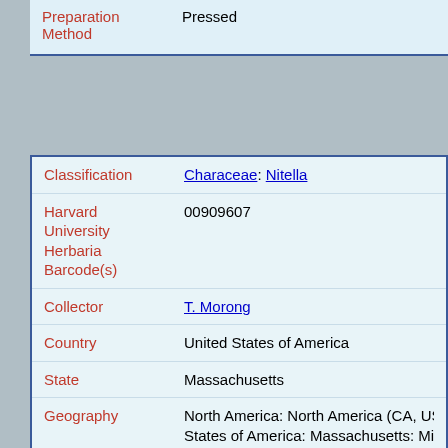| Field | Value |
| --- | --- |
| Preparation Method | Pressed |
| Field | Value |
| --- | --- |
| Classification | Characeae: Nitella |
| Harvard University Herbaria Barcode(s) | 00909607 |
| Collector | T. Morong |
| Country | United States of America |
| State | Massachusetts |
| Geography | North America: North America (CA, US, MX) (Region): United States of America: Massachusetts: Middlesex County: Nat... |
| Locality | South Natick |
| Date Collected | 1882-07-12 |
| Project | Macroalgae TCN |
| GUID | http://purl.oclc.org/net/edu.harvard.huh/guid/uuid/87c...f7bc-4e88-bff8-fbb321269524 |
| Harvard | 00909607 |